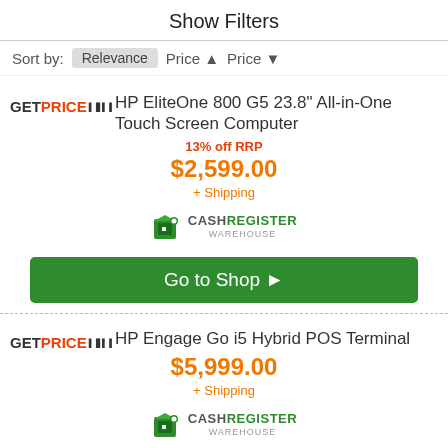Show Filters
Sort by: Relevance  Price ▲  Price ▼
HP EliteOne 800 G5 23.8" All-in-One Touch Screen Computer
13% off RRP
$2,599.00 + Shipping
[Figure (logo): Cash Register Warehouse logo with green box icon]
Go to Shop ▶
HP Engage Go i5 Hybrid POS Terminal
$5,999.00 + Shipping
[Figure (logo): Cash Register Warehouse logo with green box icon]
Go to Shop ▶